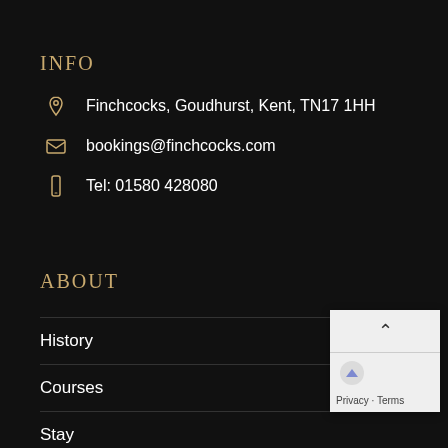INFO
Finchcocks, Goudhurst, Kent, TN17 1HH
bookings@finchcocks.com
Tel: 01580 428080
ABOUT
History
Courses
Stay
Availability